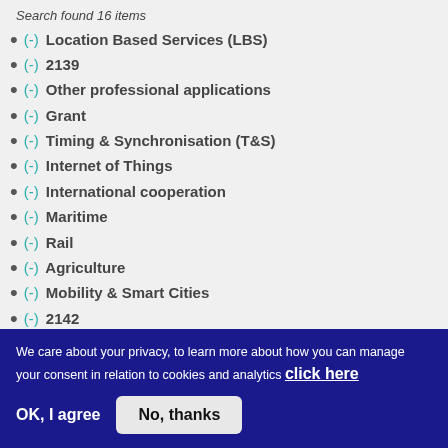Search found 16 items
(-) Location Based Services (LBS)
(-) 2139
(-) Other professional applications
(-) Grant
(-) Timing & Synchronisation (T&S)
(-) Internet of Things
(-) International cooperation
(-) Maritime
(-) Rail
(-) Agriculture
(-) Mobility & Smart Cities
(-) 2142
We care about your privacy, to learn more about how you can manage your consent in relation to cookies and analytics click here
OK, I agree
No, thanks